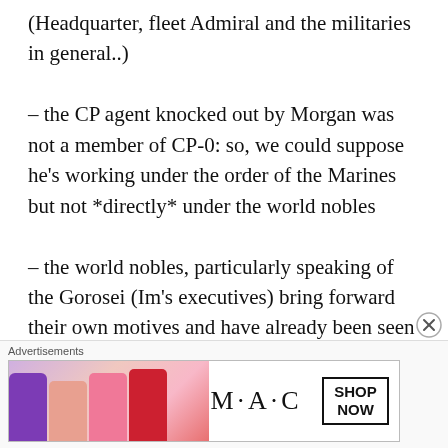(Headquarter, fleet Admiral and the militaries in general..)
– the CP agent knocked out by Morgan was not a member of CP-0: so, we could suppose he's working under the order of the Marines but not *directly* under the world nobles
– the world nobles, particularly speaking of the Gorosei (Im's executives) bring forward their own motives and have already been seen to disguise their methods of action also to the highest Marine members
Advertisements
[Figure (photo): M·A·C cosmetics advertisement showing lipsticks and SHOP NOW call to action]